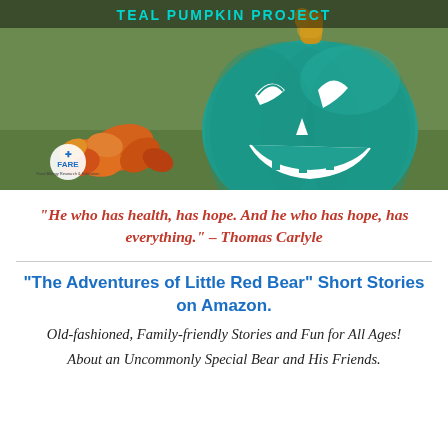[Figure (photo): A teal painted jack-o-lantern pumpkin with white face on grass with orange autumn leaves, with a FARE logo in the bottom left and 'TEAL PUMPKIN PROJECT' text at the top]
“He who has health, has hope. And he who has hope, has everything.” – Thomas Carlyle
“The Adventures of Little Red Bear” Short Stories on Amazon.
Old-fashioned, Family-friendly Stories and Fun for All Ages!
About an Uncommonly Special Bear and His Friends.